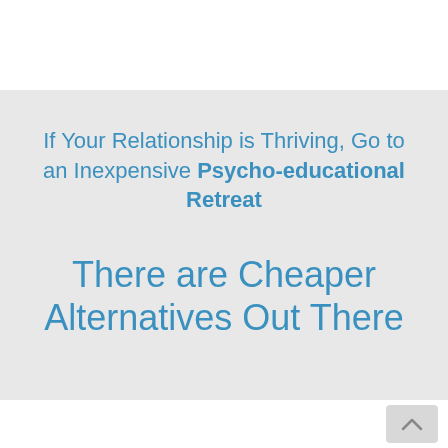If Your Relationship is Thriving, Go to an Inexpensive Psycho-educational Retreat
There are Cheaper Alternatives Out There